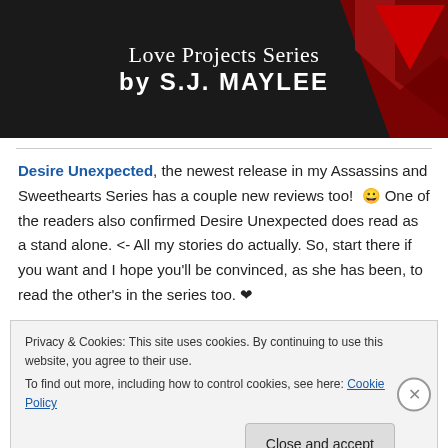[Figure (illustration): Dark banner with text 'Love Projects Series by S.J. MAYLEE' in white on black background with a red geometric arrow/triangle shape on the right side.]
Desire Unexpected, the newest release in my Assassins and Sweethearts Series has a couple new reviews too! 😀 One of the readers also confirmed Desire Unexpected does read as a stand alone. <- All my stories do actually. So, start there if you want and I hope you'll be convinced, as she has been, to read the other's in the series too. ❤
Privacy & Cookies: This site uses cookies. By continuing to use this website, you agree to their use.
To find out more, including how to control cookies, see here: Cookie Policy
Close and accept